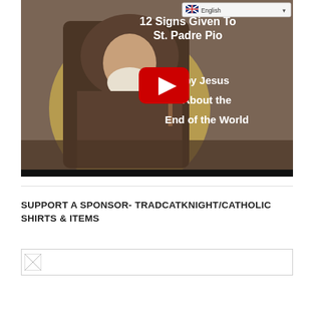[Figure (screenshot): YouTube video thumbnail showing St. Padre Pio illustration with text '12 Signs Given To St. Padre Pio by Jesus About the End of the World' and a YouTube play button. An English language selector dropdown is visible in the top right corner.]
SUPPORT A SPONSOR- TRADCATKNIGHT/CATHOLIC SHIRTS & ITEMS
[Figure (photo): Small image placeholder/broken image icon]